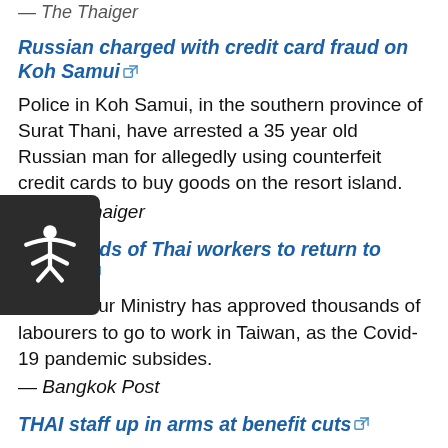— The Thaiger
Russian charged with credit card fraud on Koh Samui
Police in Koh Samui, in the southern province of Surat Thani, have arrested a 35 year old Russian man for allegedly using counterfeit credit cards to buy goods on the resort island.
— The Thaiger
Thousands of Thai workers to return to Taiwan
The Labour Ministry has approved thousands of labourers to go to work in Taiwan, as the Covid-19 pandemic subsides.
— Bangkok Post
THAI staff up in arms at benefit cuts
The Labour Ministry will invite the management of Thai Airways International (THAI) for talks over a complaint submitted on Friday to the ministry by the airline's labour union over unreasonable cuts in work benefits, especially